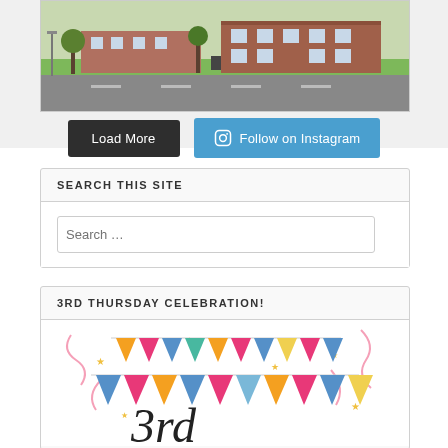[Figure (photo): Aerial or street-level photo of a brick building with green lawn and road in foreground]
Load More
Follow on Instagram
SEARCH THIS SITE
Search …
3RD THURSDAY CELEBRATION!
[Figure (illustration): Colorful celebration banner with triangular bunting flags in orange, pink, blue and yellow colors with confetti and the text '3rd']